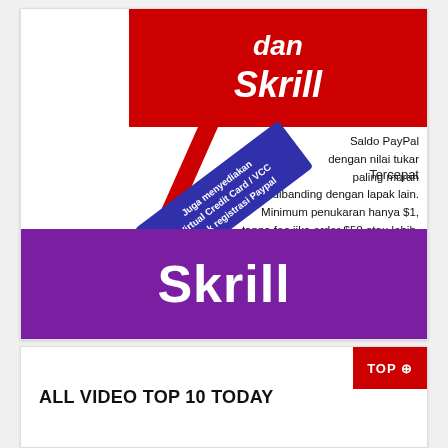[Figure (infographic): Advertisement banner for Skrill payment service. Contains red header with 'dan Skrill' text, diagonal red and blue badge saying 'Juga menyediakan Virtual Credit Card / VCC untuk registrasi Paypal', text about Saldo PayPal exchange rates, minimum exchange of $1, no fee for orders $50 or more, and purple bottom bar with Skrill logo.]
ALL VIDEO TOP 10 TODAY
TOP ⊕